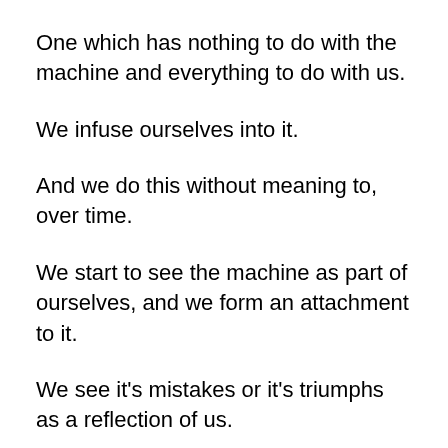One which has nothing to do with the machine and everything to do with us.
We infuse ourselves into it.
And we do this without meaning to, over time.
We start to see the machine as part of ourselves, and we form an attachment to it.
We see it's mistakes or it's triumphs as a reflection of us.
The work gets less enjoyable...
Sometimes we work double the hours but still